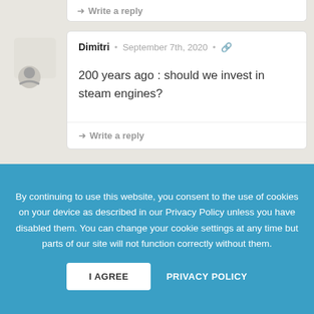→ Write a reply
[Figure (illustration): User avatar icon for Dimitri - circular avatar with profile silhouette]
Dimitri • September 7th, 2020 • 🔗
200 years ago : should we invest in steam engines?
→ Write a reply
[Figure (illustration): User avatar icon for Filip - circular avatar with profile silhouette]
Filip • September 7th, 2020 • 🔗
By continuing to use this website, you consent to the use of cookies on your device as described in our Privacy Policy unless you have disabled them. You can change your cookie settings at any time but parts of our site will not function correctly without them.
I AGREE
PRIVACY POLICY